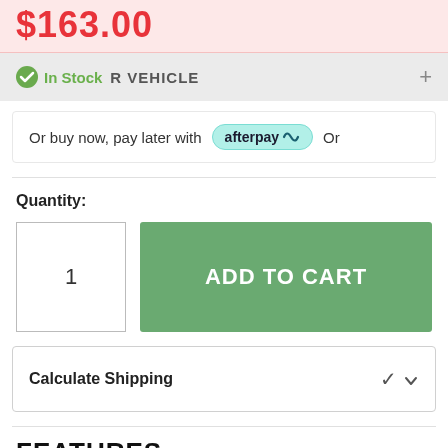$163.00 (price, partially shown)
In Stock  FIT TO YOUR VEHICLE  +
Or buy now, pay later with afterpay Or
Quantity:
1  ADD TO CART
Calculate Shipping
FEATURES
Rear Hinge Aerial Work Light Mount to suit FJ Cruiser